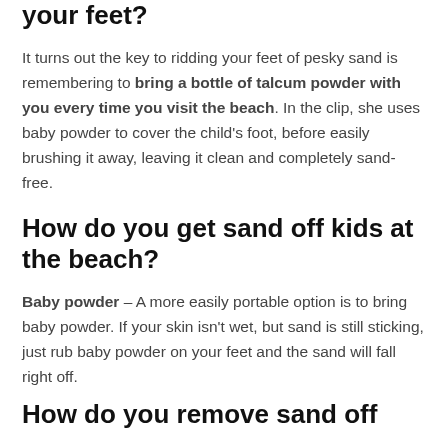your feet?
It turns out the key to ridding your feet of pesky sand is remembering to bring a bottle of talcum powder with you every time you visit the beach. In the clip, she uses baby powder to cover the child's foot, before easily brushing it away, leaving it clean and completely sand-free.
How do you get sand off kids at the beach?
Baby powder – A more easily portable option is to bring baby powder. If your skin isn't wet, but sand is still sticking, just rub baby powder on your feet and the sand will fall right off.
How do you remove sand off